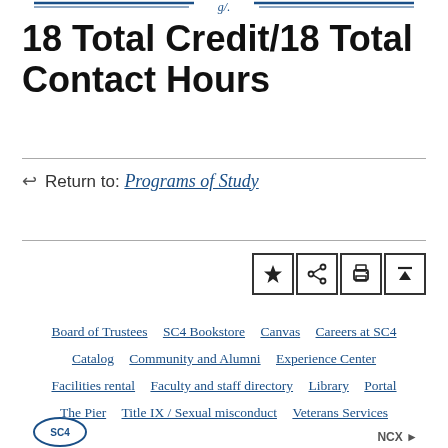18 Total Credit/18 Total Contact Hours
↩ Return to: Programs of Study
[Figure (other): Icon bar with star, share, print, and scroll-to-top buttons]
Board of Trustees   SC4 Bookstore   Canvas   Careers at SC4   Catalog   Community and Alumni   Experience Center   Facilities rental   Faculty and staff directory   Library   Portal   The Pier   Title IX / Sexual misconduct   Veterans Services